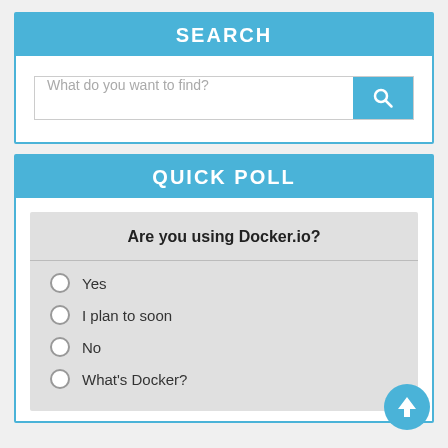SEARCH
[Figure (screenshot): Search input box with placeholder text 'What do you want to find?' and a blue search button with magnifying glass icon]
QUICK POLL
Are you using Docker.io?
Yes
I plan to soon
No
What's Docker?